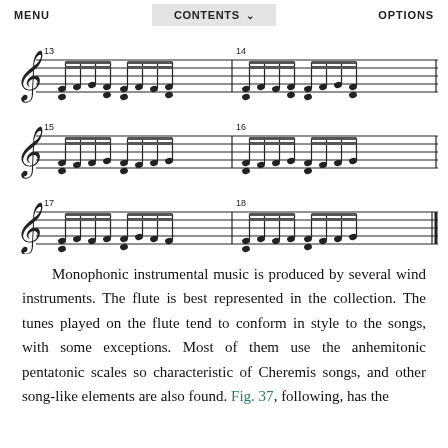MENU   CONTENTS ∨   OPTIONS
[Figure (illustration): Three rows of musical notation (measures 13-18) for a monophonic melody. Row 1: measures 13-14, Row 2: measures 15-16, Row 3: measures 17-18. Each measure contains sixteenth-note and eighth-note groupings with beams, notated on a treble clef staff.]
Monophonic instrumental music is produced by several wind instruments. The flute is best represented in the collection. The tunes played on the flute tend to conform in style to the songs, with some exceptions. Most of them use the anhemitonic pentatonic scales so characteristic of Cheremis songs, and other song-like elements are also found. Fig. 37, following, has the